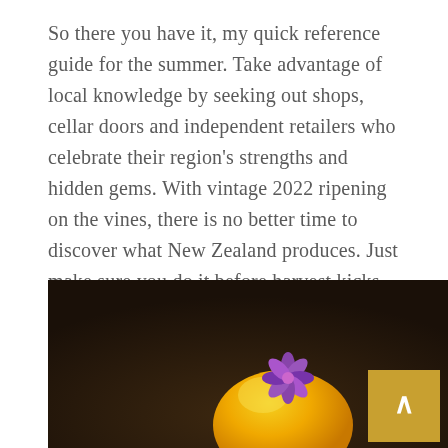So there you have it, my quick reference guide for the summer. Take advantage of local knowledge by seeking out shops, cellar doors and independent retailers who celebrate their region's strengths and hidden gems. With vintage 2022 ripening on the vines, there is no better time to discover what New Zealand produces. Just make sure you do it before harvest kicks off and wineries get too busy to take visitors. ■
[Figure (photo): Dark background photo showing a yellow fruit (mango or similar) with a purple flower on top, shot against a dark brown/chocolate colored background. A gold 'back to top' button with an upward arrow is visible in the bottom right corner.]